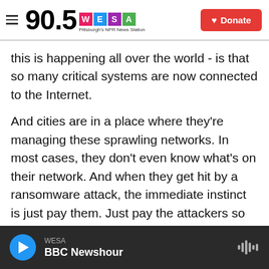90.5 WESA Pittsburgh's NPR News Station | Donate
this is happening all over the world - is that so many critical systems are now connected to the Internet.
And cities are in a place where they're managing these sprawling networks. In most cases, they don't even know what's on their network. And when they get hit by a ransomware attack, the immediate instinct is just pay them. Just pay the attackers so that we can go back to our business, when, in reality, cities are tied up in red tape. They can't pay these attacks or if they did, they would have to do so very quietly.
WESA | BBC Newshour